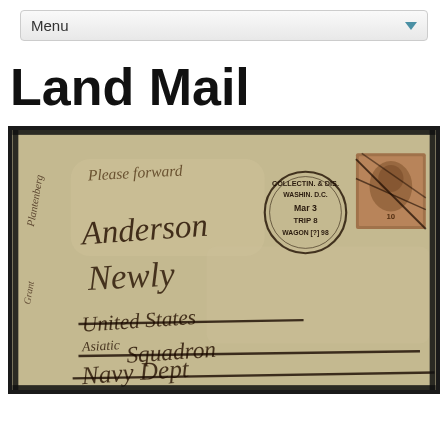Menu
Land Mail
[Figure (photo): Historical handwritten envelope addressed in cursive script with a circular postmark reading 'COLLECTIN. & DIS. WASHIN. D.C. Mar 3 TRIP 8 WAGON [?] 98' and a brown postage stamp in the upper right corner. The envelope shows text 'Please forward' at top, and cursive address lines including what appears to be 'United States Asiatic Squadron' with other handwritten lines. Black ink strikethrough lines visible on some address portions.]